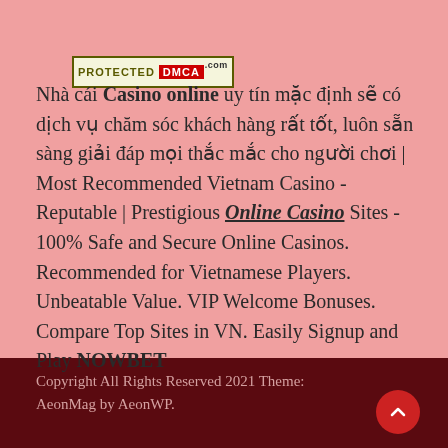[Figure (logo): PROTECTED DMCA badge/logo with olive border]
Nhà cái Casino online uy tín mặc định sẽ có dịch vụ chăm sóc khách hàng rất tốt, luôn sẵn sàng giải đáp mọi thắc mắc cho người chơi | Most Recommended Vietnam Casino - Reputable | Prestigious Online Casino Sites - 100% Safe and Secure Online Casinos. Recommended for Vietnamese Players. Unbeatable Value. VIP Welcome Bonuses. Compare Top Sites in VN. Easily Signup and Play NOWBET
Copyright All Rights Reserved 2021 Theme: AeonMag by AeonWP.